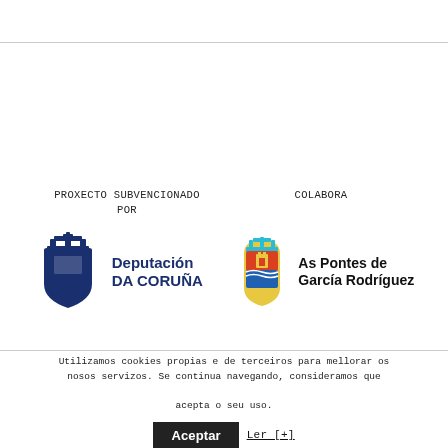PROXECTO SUBVENCIONADO POR
COLABORA
[Figure (logo): Deputación da Coruña logo — blue shield/coat of arms icon with text 'Deputación DA CORUÑA' in dark blue bold sans-serif]
[Figure (logo): As Pontes de García Rodríguez municipal coat of arms (colorful shield with crown) alongside bold text 'As Pontes de García Rodríguez']
Utilizamos cookies propias e de terceiros para mellorar os nosos servizos. Se continua navegando, consideramos que acepta o seu uso.
Aceptar
Ler [+]